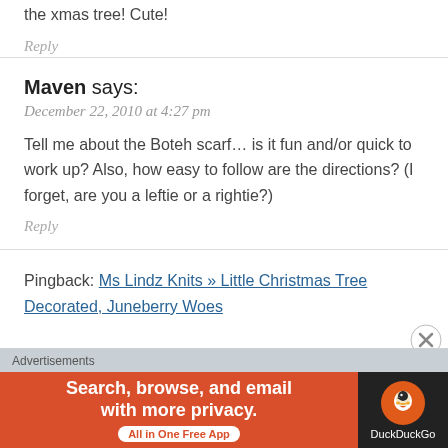the xmas tree! Cute!
Reply
Maven says:
December 22, 2010 at 4:27 pm
Tell me about the Boteh scarf... is it fun and/or quick to work up? Also, how easy to follow are the directions? (I forget, are you a leftie or a rightie?)
Reply
Pingback: Ms Lindz Knits » Little Christmas Tree Decorated, Juneberry Woes
Advertisements
[Figure (other): DuckDuckGo advertisement banner: Search, browse, and email with more privacy. All in One Free App.]